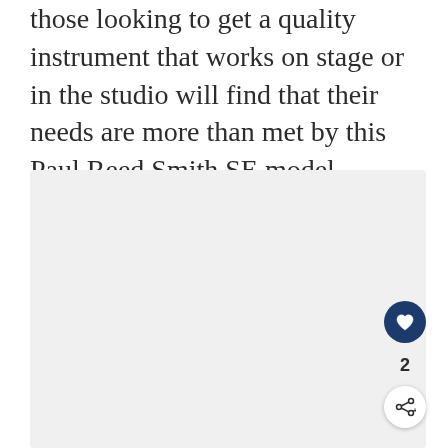those looking to get a quality instrument that works on stage or in the studio will find that their needs are more than met by this Paul Reed Smith SE model.
[Figure (photo): A large light gray rectangular image area placeholder, likely showing a guitar or related product photo.]